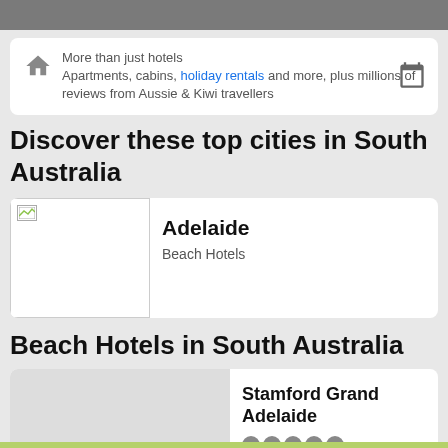More than just hotels
Apartments, cabins, holiday rentals and more, plus millions of reviews from Aussie & Kiwi travellers
Discover these top cities in South Australia
[Figure (photo): Image placeholder for Adelaide city photo]
Adelaide
Beach Hotels
Beach Hotels in South Australia
[Figure (photo): Image placeholder for Stamford Grand Adelaide hotel photo]
Stamford Grand Adelaide
5 star rating dots